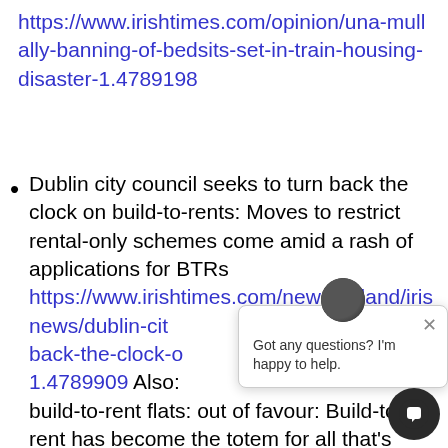https://www.irishtimes.com/opinion/una-mullally-banning-of-bedsits-set-in-train-housing-disaster-1.4789198
Dublin city council seeks to turn back the clock on build-to-rents: Moves to restrict rental-only schemes come amid a rash of applications for BTRs https://www.irishtimes.com/news/ireland/iris news/dublin-cit back-the-clock-o 1.4789909 Also: build-to-rent flats: out of favour: Build-to-rent has become the totem for all that's wrong with the housing system https://www.irishtimes.com/opinion/editorial